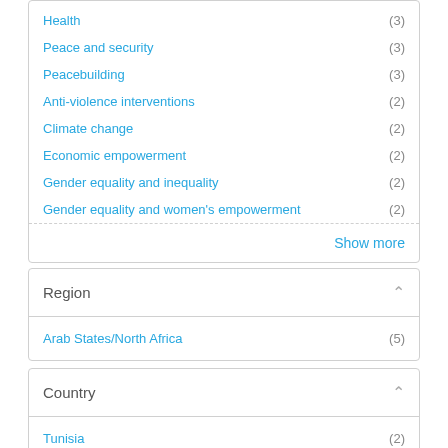Health (3)
Peace and security (3)
Peacebuilding (3)
Anti-violence interventions (2)
Climate change (2)
Economic empowerment (2)
Gender equality and inequality (2)
Gender equality and women's empowerment (2)
Show more
Region
Arab States/North Africa (5)
Country
Tunisia (2)